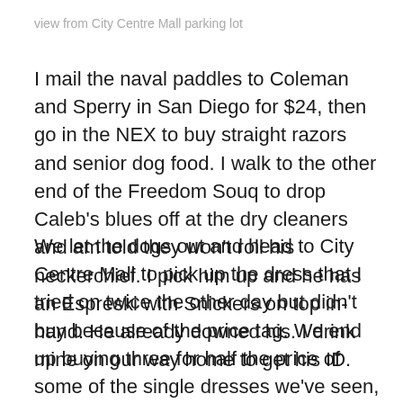view from City Centre Mall parking lot
I mail the naval paddles to Coleman and Sperry in San Diego for $24, then go in the NEX to buy straight razors and senior dog food. I walk to the other end of the Freedom Souq to drop Caleb’s blues off at the dry cleaners and am told they won’t roll his neckerchief. I pick him up and he has an Espreski with Snickers on top in-hand. He already downed his. I drink mine on our way home to get his ID.
We let the dogs out and head to City Centre Mall to pick up the dress that I tried on twice the other day but didn’t buy because of the price tag. We end up buying three for half the price of some of the single dresses we’ve seen, but also triple the price of what we could find. We go to Seef Mall to look for Red Tag and Twenty4 with no luck,